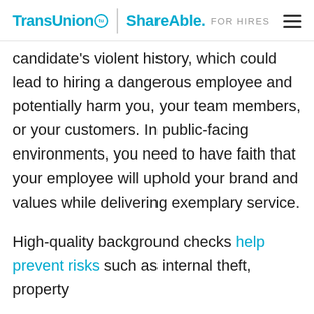TransUnion ShareAble. FOR HIRES
candidate's violent history, which could lead to hiring a dangerous employee and potentially harm you, your team members, or your customers. In public-facing environments, you need to have faith that your employee will uphold your brand and values while delivering exemplary service.
High-quality background checks help prevent risks such as internal theft, property